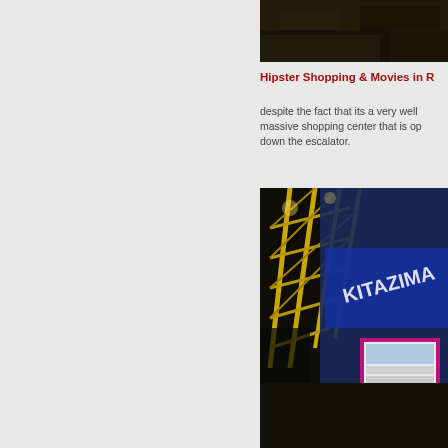[Figure (photo): Dark photo of a building or structure at night, partially cropped at top]
Hipster Shopping & Movies in R
despite the fact that its a very well massive shopping center that is op down the escalator.
[Figure (photo): Night photo of a large building with yellow steel frame structure, blue signage reading KITAZIMA, and a pink illuminated display board]